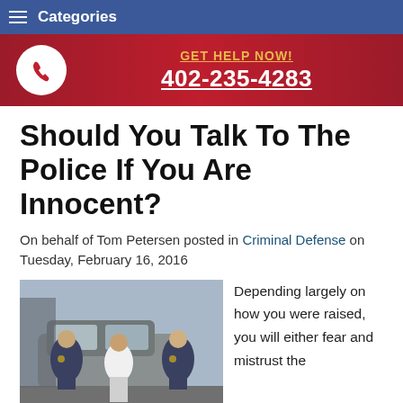Categories
[Figure (infographic): Red banner with white phone icon in circle on left, and GET HELP NOW! with phone number 402-235-4283 on right]
Should You Talk To The Police If You Are Innocent?
On behalf of Tom Petersen posted in Criminal Defense on Tuesday, February 16, 2016
[Figure (photo): Police officers detaining a woman in a white t-shirt next to a car outdoors]
Depending largely on how you were raised, you will either fear and mistrust the